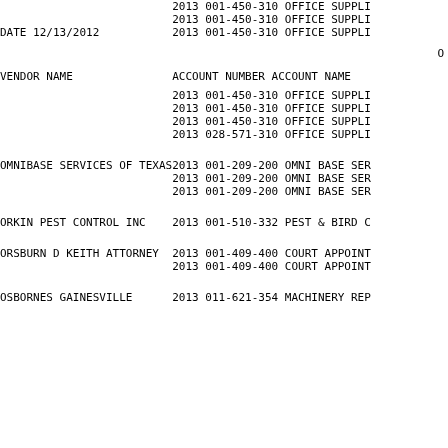| VENDOR NAME | YEAR | ACCOUNT NUMBER | ACCOUNT NAME |
| --- | --- | --- | --- |
|  | 2013 | 001-450-310 | OFFICE SUPPLI |
|  | 2013 | 001-450-310 | OFFICE SUPPLI |
| DATE 12/13/2012 | 2013 | 001-450-310 | OFFICE SUPPLI |
| VENDOR NAME |  | ACCOUNT NUMBER | ACCOUNT NAME |
|  | 2013 | 001-450-310 | OFFICE SUPPLI |
|  | 2013 | 001-450-310 | OFFICE SUPPLI |
|  | 2013 | 001-450-310 | OFFICE SUPPLI |
|  | 2013 | 028-571-310 | OFFICE SUPPLI |
| OMNIBASE SERVICES OF TEXAS | 2013 | 001-209-200 | OMNI BASE SER |
|  | 2013 | 001-209-200 | OMNI BASE SER |
|  | 2013 | 001-209-200 | OMNI BASE SER |
| ORKIN PEST CONTROL INC | 2013 | 001-510-332 | PEST & BIRD C |
| ORSBURN D KEITH ATTORNEY | 2013 | 001-409-400 | COURT APPOINT |
|  | 2013 | 001-409-400 | COURT APPOINT |
| OSBORNES  GAINESVILLE | 2013 | 011-621-354 | MACHINERY REP |